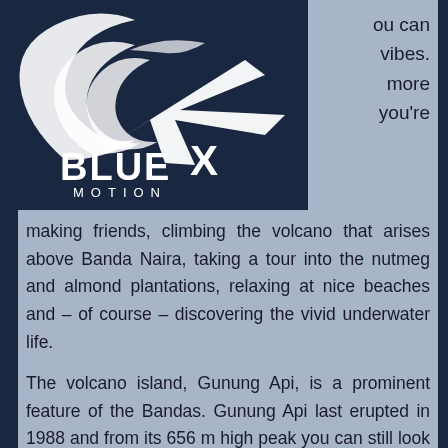[Figure (logo): Blue Motion logo — white stylized wave and fish/arrow shape with text 'BLUE MOTION' on dark navy background]
ou can vibes. more you're making friends, climbing the volcano that arises above Banda Naira, taking a tour into the nutmeg and almond plantations, relaxing at nice beaches and – of course – discovering the vivid underwater life.
The volcano island, Gunung Api, is a prominent feature of the Bandas. Gunung Api last erupted in 1988 and from its 656 m high peak you can still look down into the crater and feel warm vapor streaming out of little cracks in the rock. Walking up takes about 1.5 to 2 hours and is nicest early in the